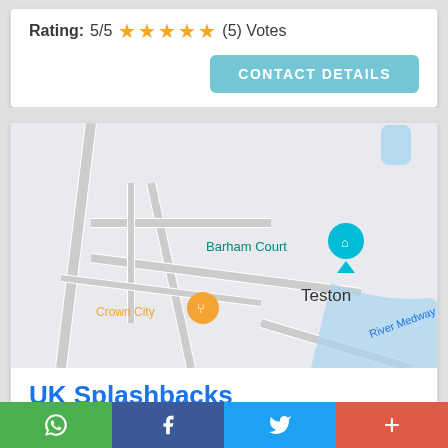Rating: 5/5 ★★★★★ (5) Votes
CONTACT DETAILS
[Figure (map): Google Maps showing Teston area with markers for Barham Court, Top Class Dog, Crown City restaurant, River Medway, and A26 road.]
UK Splashbacks
Dean farm, Dean St, East Farleigh, Maidstone ME15
WhatsApp | Facebook | Twitter | +